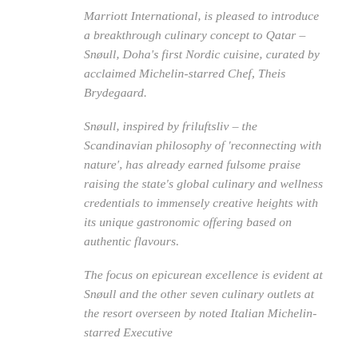Marriott International, is pleased to introduce a breakthrough culinary concept to Qatar – Snøull, Doha's first Nordic cuisine, curated by acclaimed Michelin-starred Chef, Theis Brydegaard.
Snøull, inspired by friluftsliv – the Scandinavian philosophy of 'reconnecting with nature', has already earned fulsome praise raising the state's global culinary and wellness credentials to immensely creative heights with its unique gastronomic offering based on authentic flavours.
The focus on epicurean excellence is evident at Snøull and the other seven culinary outlets at the resort overseen by noted Italian Michelin-starred Executive